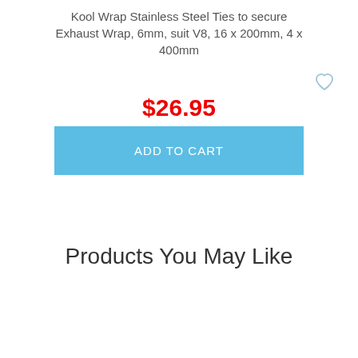Kool Wrap Stainless Steel Ties to secure Exhaust Wrap, 6mm, suit V8, 16 x 200mm, 4 x 400mm
$26.95
ADD TO CART
Products You May Like